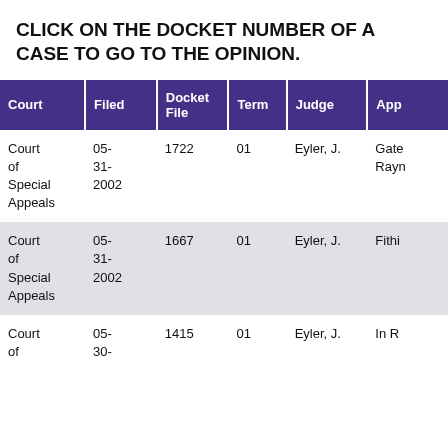CLICK ON THE DOCKET NUMBER OF A CASE TO GO TO THE OPINION.
| Court | Filed | Docket File | Term | Judge | App |
| --- | --- | --- | --- | --- | --- |
| Court of Special Appeals | 05-31-2002 | 1722 | 01 | Eyler, J. | Gate Ray |
| Court of Special Appeals | 05-31-2002 | 1667 | 01 | Eyler, J. | Fithi |
| Court of | 05-30- | 1415 | 01 | Eyler, J. | In R |